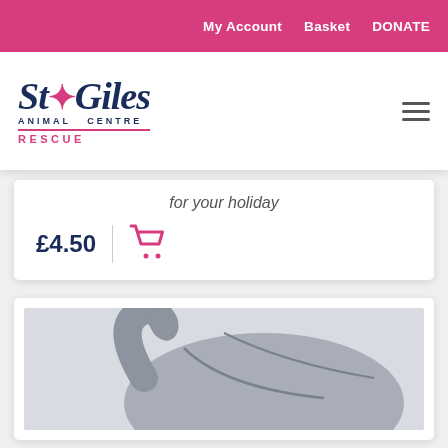My Account   Basket   DONATE
[Figure (logo): St Giles Animal Centre Rescue logo with paw print]
for your holiday
£4.50
[Figure (photo): Close-up photo of a grey stuffed animal toy (elephant), showing its tail and body from behind against a light grey background]